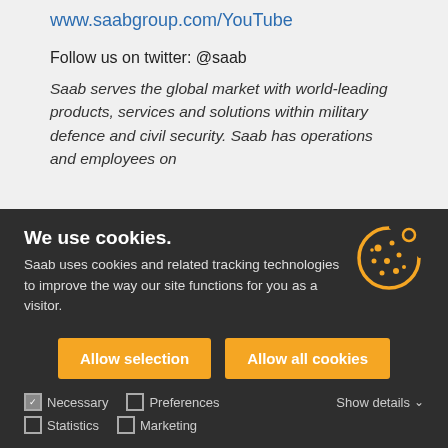www.saabgroup.com/YouTube
Follow us on twitter: @saab
Saab serves the global market with world-leading products, services and solutions within military defence and civil security. Saab has operations and employees on
We use cookies.
Saab uses cookies and related tracking technologies to improve the way our site functions for you as a visitor.
Allow selection | Allow all cookies
Necessary  Preferences  Statistics  Marketing  Show details